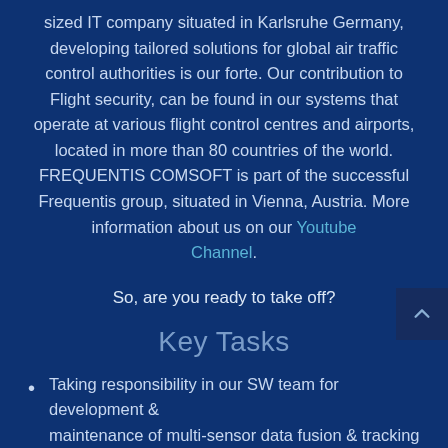sized IT company situated in Karlsruhe Germany, developing tailored solutions for global air traffic control authorities is our forte. Our contribution to Flight security, can be found in our systems that operate at various flight control centres and airports, located in more than 80 countries of the world. FREQUENTIS COMSOFT is part of the successful Frequentis group, situated in Vienna, Austria. More information about us on our Youtube Channel.
So, are you ready to take off?
Key Tasks
Taking responsibility in our SW team for development & maintenance of multi-sensor data fusion & tracking systems
Taking a leading role in the improvement of our continuous integration / continuous delivery processes